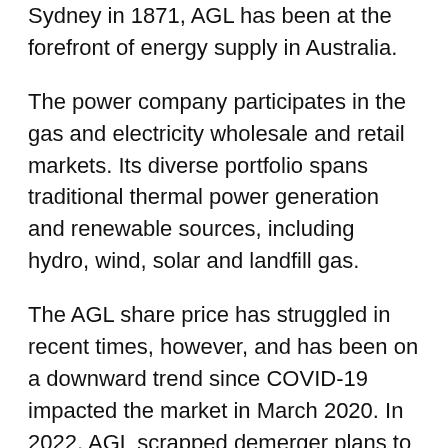Sydney in 1871, AGL has been at the forefront of energy supply in Australia.
The power company participates in the gas and electricity wholesale and retail markets. Its diverse portfolio spans traditional thermal power generation and renewable sources, including hydro, wind, solar and landfill gas.
The AGL share price has struggled in recent times, however, and has been on a downward trend since COVID-19 impacted the market in March 2020. In 2022, AGL scrapped demerger plans to create two energy businesses with separate listings on the ASX after facing strong opposition from investors and industry experts.